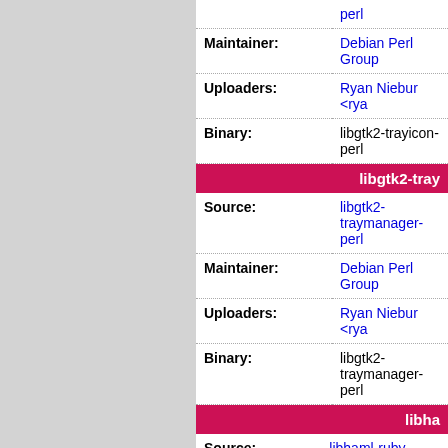| Field | Value |
| --- | --- |
|  | perl |
| Maintainer: | Debian Perl Group |
| Uploaders: | Ryan Niebur <rya... |
| Binary: | libgtk2-trayicon-perl |
libgtk2-tray...
| Field | Value |
| --- | --- |
| Source: | libgtk2-traymanager-perl |
| Maintainer: | Debian Perl Group |
| Uploaders: | Ryan Niebur <rya... |
| Binary: | libgtk2-traymanager-perl |
libha...
| Field | Value |
| --- | --- |
| Source: | libhaml-ruby |
| Maintainer: | Gunnar Wolf <gw... |
| Uploaders: | Debian Ruby Extras maintainers@lists... |